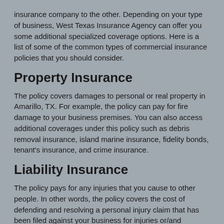insurance company to the other. Depending on your type of business, West Texas Insurance Agency can offer you some additional specialized coverage options. Here is a list of some of the common types of commercial insurance policies that you should consider.
Property Insurance
The policy covers damages to personal or real property in Amarillo, TX. For example, the policy can pay for fire damage to your business premises. You can also access additional coverages under this policy such as debris removal insurance, island marine insurance, fidelity bonds, tenant's insurance, and crime insurance.
Liability Insurance
The policy pays for any injuries that you cause to other people. In other words, the policy covers the cost of defending and resolving a personal injury claim that has been filed against your business for injuries or/and property damage. There are other more specialized directors liability and...